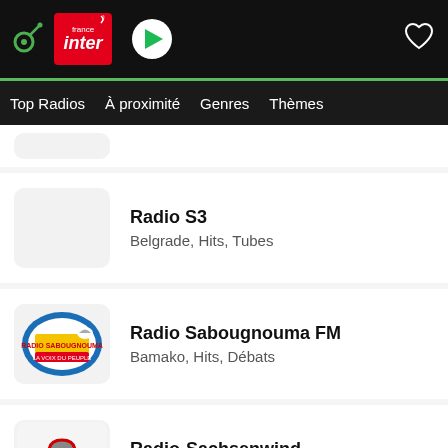Top Radios  À proximité  Genres  Thèmes
Radio S3 — Belgrade, Hits, Tubes
Radio Sabougnouma FM — Bamako, Hits, Débats
Radio-Sachsenwind — Grünhain-Beierfeld, Hits, Tubes, Discofox
RADIO SALUE - Kulthits